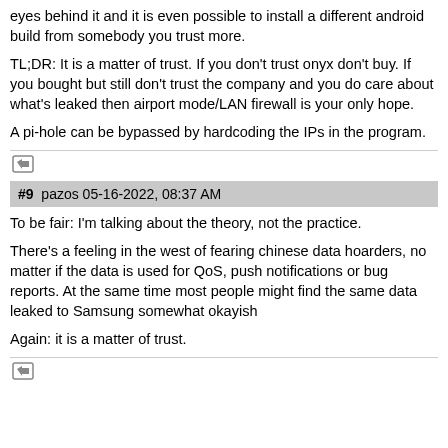eyes behind it and it is even possible to install a different android build from somebody you trust more.
TL;DR: It is a matter of trust. If you don't trust onyx don't buy. If you bought but still don't trust the company and you do care about what's leaked then airport mode/LAN firewall is your only hope.
A pi-hole can be bypassed by hardcoding the IPs in the program.
#9  pazos 05-16-2022, 08:37 AM
To be fair: I'm talking about the theory, not the practice.
There's a feeling in the west of fearing chinese data hoarders, no matter if the data is used for QoS, push notifications or bug reports. At the same time most people might find the same data leaked to Samsung somewhat okayish
Again: it is a matter of trust.